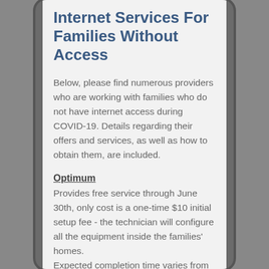Internet Services For Families Without Access
Below, please find numerous providers who are working with families who do not have internet access during COVID-19. Details regarding their offers and services, as well as how to obtain them, are included.
Optimum
Provides free service through June 30th, only cost is a one-time $10 initial setup fee - the technician will configure all the equipment inside the families' homes.
Expected completion time varies from same day to one week, depending on the area.
Family must contact the company.